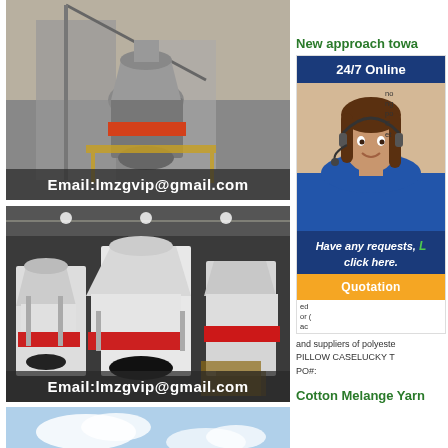[Figure (photo): Industrial cone crusher machine at a facility, with steel structure and orange accent ring, overlaid with email address Email:lmzgvip@gmail.com]
[Figure (photo): Multiple white industrial cone crusher machines inside a warehouse/factory, overlaid with email address Email:lmzgvip@gmail.com]
[Figure (photo): Blue sky with clouds, partial view]
New approach towa
[Figure (screenshot): 24/7 Online chat widget with woman wearing headset, blue header, footer text 'Have any requests, click here.' and orange Quotation button]
and suppliers of polyeste
PILLOW CASELUCKY T
PO#:
Cotton Melange Yarn